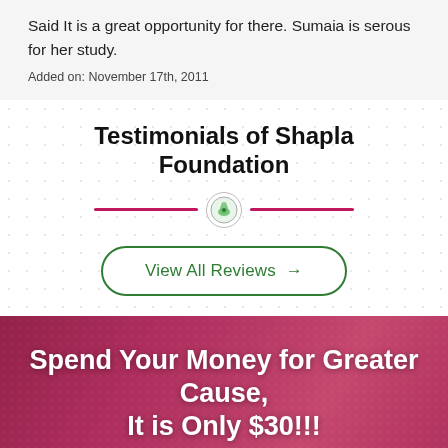Said It is a great opportunity for there. Sumaia is serous for her study.
Added on: November 17th, 2011
Testimonials of Shapla Foundation
[Figure (illustration): Decorative divider with two pink horizontal lines and a small circular logo icon in the center]
View All Reviews →
Spend Your Money for Greater Cause, It is Only $30!!!